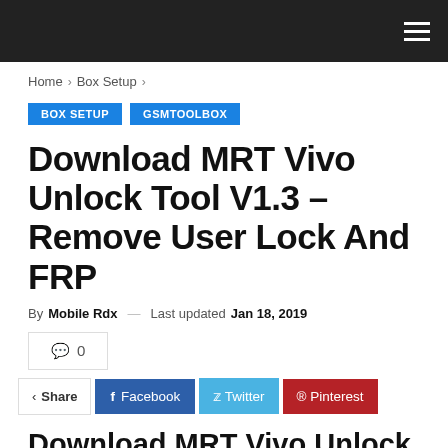Home › Box Setup ›
BOX SETUP   GSMTOOLBOX
Download MRT Vivo Unlock Tool V1.3 – Remove User Lock And FRP
By Mobile Rdx — Last updated Jan 18, 2019
💬 0
< Share  f Facebook  🐦 Twitter  ® Pinterest
Download MRT Vivo Unlock Tool